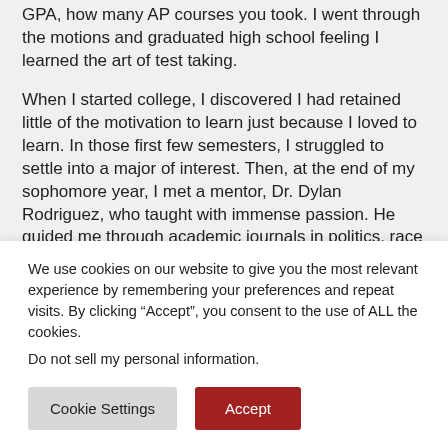GPA, how many AP courses you took. I went through the motions and graduated high school feeling I learned the art of test taking.
When I started college, I discovered I had retained little of the motivation to learn just because I loved to learn. In those first few semesters, I struggled to settle into a major of interest. Then, at the end of my sophomore year, I met a mentor, Dr. Dylan Rodriguez, who taught with immense passion. He guided me through academic journals in politics, race relations, and statistical analysis.
We use cookies on our website to give you the most relevant experience by remembering your preferences and repeat visits. By clicking “Accept”, you consent to the use of ALL the cookies.
Do not sell my personal information.